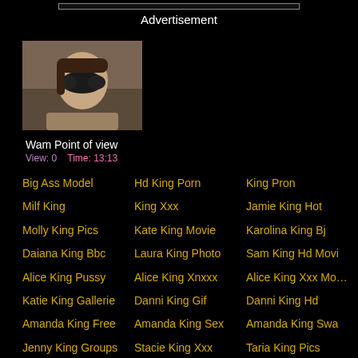Advertisement
[Figure (photo): Thumbnail image of a person wearing a black mask]
Wam Point of view
View: 0    Time: 13:13
Big Ass Model
Hd King Porn
King Pron
Milf King
King Xxx
Jamie King Hot
Molly King Pics
Kate King Movie
Karolina King Bj
Daiana King Bbc
Laura King Photo
Sam King Hd Movi
Alice King Pussy
Alice King Xnxxx
Alice King Xxx Mo…
Katie King Gallerie
Danni King Gif
Danni King Hd
Amanda King Free
Amanda King Sex
Amanda King Swa
Jenny King Groups
Stacie King Xxx
Taria King Pics